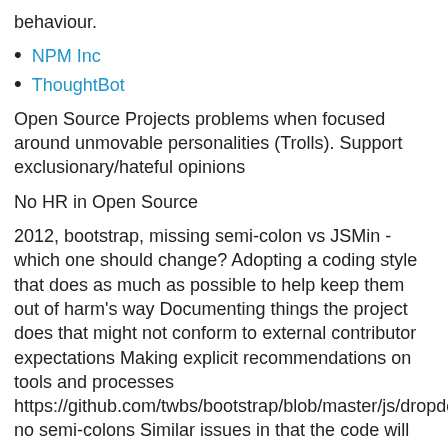behaviour.
NPM Inc
ThoughtBot
Open Source Projects problems when focused around unmovable personalities (Trolls). Support exclusionary/hateful opinions
No HR in Open Source
2012, bootstrap, missing semi-colon vs JSMin - which one should change? Adopting a coding style that does as much as possible to help keep them out of harm's way Documenting things the project does that might not conform to external contributor expectations Making explicit recommendations on tools and processes https://github.com/twbs/bootstrap/blob/master/js/dropdow no semi-colons Similar issues in that the code will work but be less inclusive to some users.Not Open Source. Output of